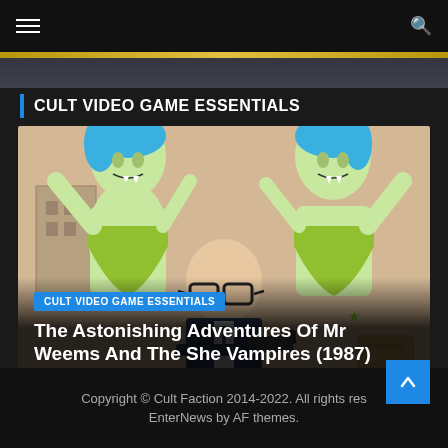Navigation bar with hamburger menu and search icon
CULT VIDEO GAME ESSENTIALS
[Figure (illustration): Cartoon illustration of a bald man in a suit with large glasses holding a gun, flanked by two green-skinned she-vampires with blue hair and fangs. Background shows sketched building elements.]
CULT VIDEO GAME ESSENTIALS
The Astonishing Adventures Of Mr Weems And The She Vampires (1987)
April 14, 2020  Brett Summers
Copyright © Cult Faction 2014-2022. All rights res EnterNews by AF themes.